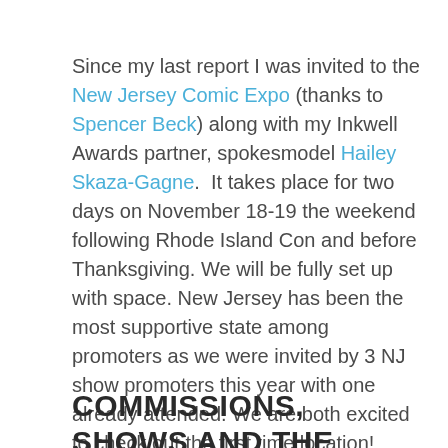Since my last report I was invited to the New Jersey Comic Expo (thanks to Spencer Beck) along with my Inkwell Awards partner, spokesmodel Hailey Skaza-Gagne.  It takes place for two days on November 18-19 the weekend following Rhode Island Con and before Thanksgiving. We will be fully set up with space. New Jersey has been the most supportive state among promoters as we were invited by 3 NJ show promoters this year with one already attended. We are both excited to check out the first time location! Maybe we'll see you there!
COMMISSIONS, SHOWS AND THE TICKL...